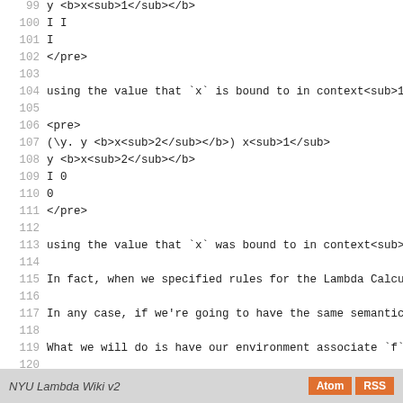Lines 99-127 of Lambda Calculus wiki source code showing HTML markup with line numbers, including pre tags, bold/sub markup, and explanatory text about closures and environments.
NYU Lambda Wiki v2   Atom  RSS